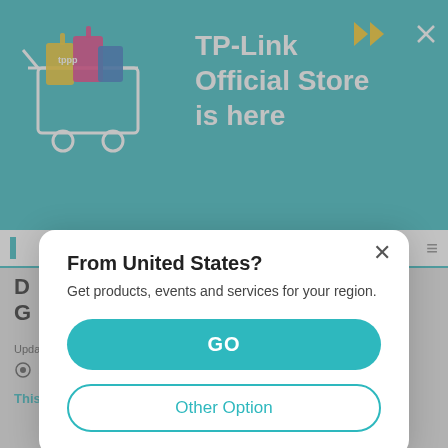[Figure (screenshot): TP-Link Official Store promotional banner with shopping cart illustration, teal background, bold white text reading 'TP-Link Official Store is here', yellow double-arrow and X close button]
[Figure (screenshot): Modal dialog overlay with white rounded rectangle. Contains title 'From United States?', subtitle 'Get products, events and services for your region.', a teal GO button, and an outlined Other Option button. X close button top-right.]
From United States?
Get products, events and services for your region.
GO
Other Option
Updated 06-28-2022 02:26:54 AM
126656
This Article Applies to: